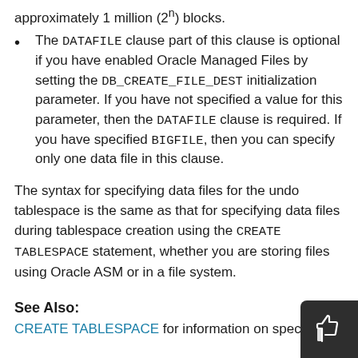approximately 1 million (2^) blocks.
The DATAFILE clause part of this clause is optional if you have enabled Oracle Managed Files by setting the DB_CREATE_FILE_DEST initialization parameter. If you have not specified a value for this parameter, then the DATAFILE clause is required. If you have specified BIGFILE, then you can specify only one data file in this clause.
The syntax for specifying data files for the undo tablespace is the same as that for specifying data files during tablespace creation using the CREATE TABLESPACE statement, whether you are storing files using Oracle ASM or in a file system.
See Also:
CREATE TABLESPACE for information on specifying files...